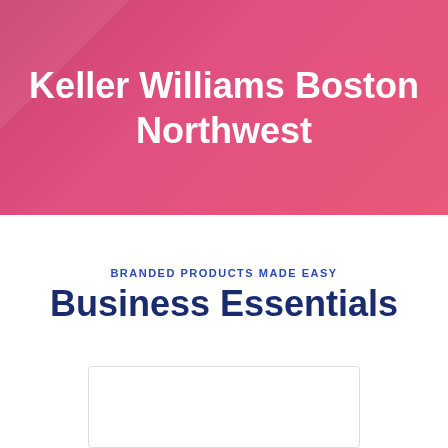Keller Williams Boston Northwest
BRANDED PRODUCTS MADE EASY
Business Essentials
[Figure (other): White card/product preview area at bottom]